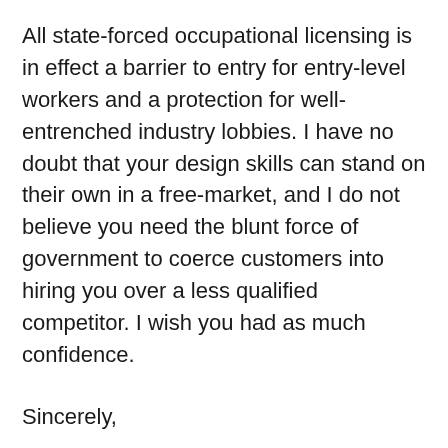All state-forced occupational licensing is in effect a barrier to entry for entry-level workers and a protection for well-entrenched industry lobbies. I have no doubt that your design skills can stand on their own in a free-market, and I do not believe you need the blunt force of government to coerce customers into hiring you over a less qualified competitor. I wish you had as much confidence.
Sincerely,
Isaac M. Morehouse